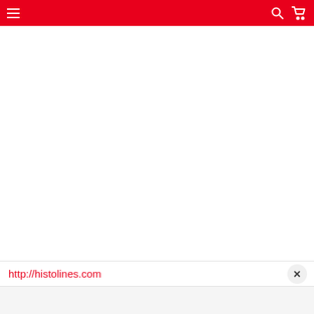Navigation bar with hamburger menu, search icon, and cart icon on red background
http://histolines.com